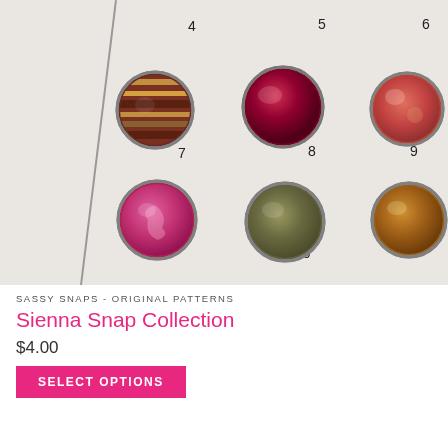[Figure (photo): Product photo showing 7 decorative snap buttons numbered 4 through 10 arranged in rows on a light background with a diagonal line. Snaps include striped, solid, floral, and patterned designs in red, maroon, olive, amber, and pink colors.]
SASSY SNAPS - ORIGINAL PATTERNS
Sienna Snap Collection
$4.00
SELECT OPTIONS